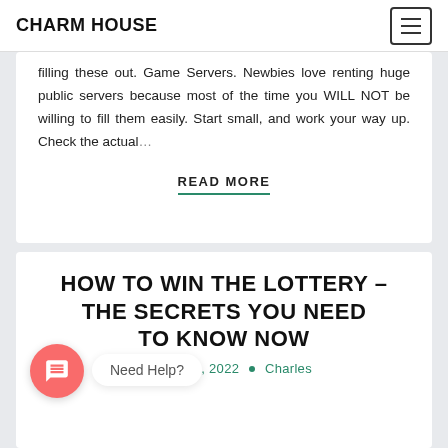CHARM HOUSE
filling these out. Game Servers. Newbies love renting huge public servers because most of the time you WILL NOT be willing to fill them easily. Start small, and work your way up. Check the actual...
READ MORE
HOW TO WIN THE LOTTERY – THE SECRETS YOU NEED TO KNOW NOW
July 19, 2022 | Charles